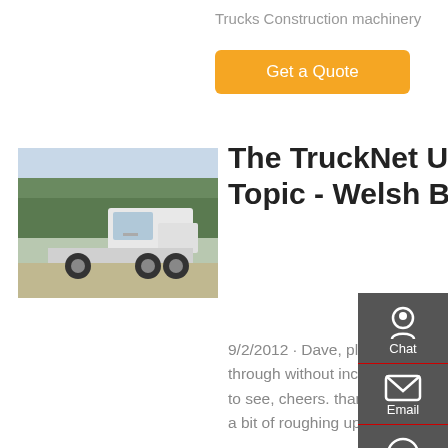Trucks Construction machinery
Get a Quote
[Figure (photo): White semi-truck / tractor unit parked in a lot with trees in background]
The TruckNet UK Drivers RoundTable • View Topic - Welsh Border ...
9/2/2012 · Dave, pleased the eighteen monthly MOT went through without incident and you're back doing what we all like to see, cheers. thanks harry long retired. Thanks Harry,did have a bit of roughing up in the